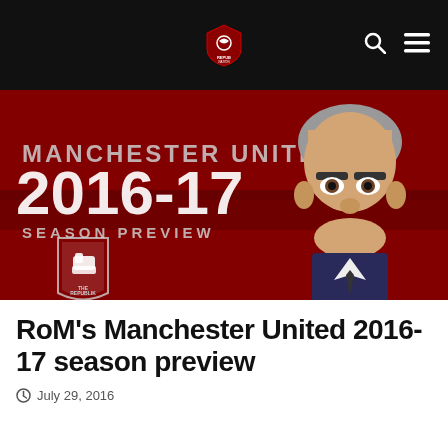Republic of Mancunia logo, search and menu icons
[Figure (illustration): Manchester United 2016-17 Season Preview graphic on a dark red background with a caricature illustration of Jose Mourinho and the Republic of Mancunia shield logo]
RoM's Manchester United 2016-17 season preview
July 29, 2016